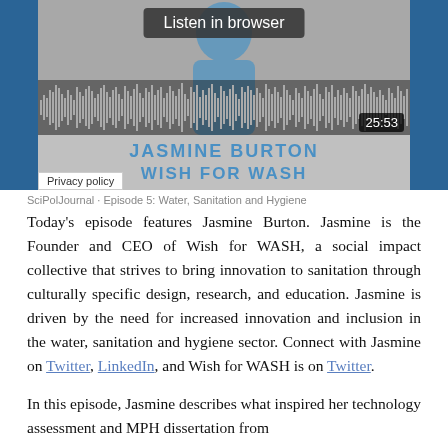[Figure (screenshot): Audio player widget showing a podcast episode with waveform, a person in blue top, timer showing 25:53, name overlay 'JASMINE BURTON' and 'WISH FOR WASH', and a 'Listen in browser' button and 'Privacy policy' badge.]
SciPolJournal · Episode 5: Water, Sanitation and Hygiene
Today's episode features Jasmine Burton. Jasmine is the Founder and CEO of Wish for WASH, a social impact collective that strives to bring innovation to sanitation through culturally specific design, research, and education. Jasmine is driven by the need for increased innovation and inclusion in the water, sanitation and hygiene sector. Connect with Jasmine on Twitter, LinkedIn, and Wish for WASH is on Twitter.
In this episode, Jasmine describes what inspired her technology assessment and MPH dissertation from